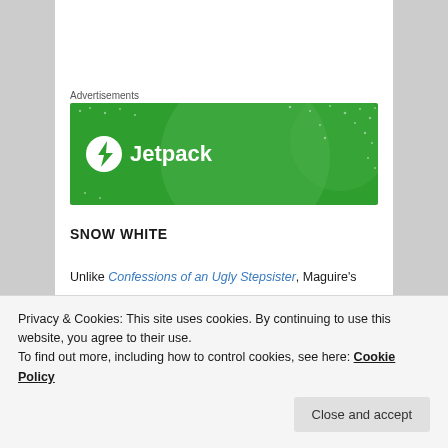Advertisements
[Figure (logo): Jetpack advertisement banner with green background, large translucent circles, dot pattern, and Jetpack logo with lightning bolt icon and white text reading 'Jetpack']
SNOW WHITE
Unlike Confessions of an Ugly Stepsister, Maguire's
Privacy & Cookies: This site uses cookies. By continuing to use this website, you agree to their use.
To find out more, including how to control cookies, see here: Cookie Policy
Close and accept